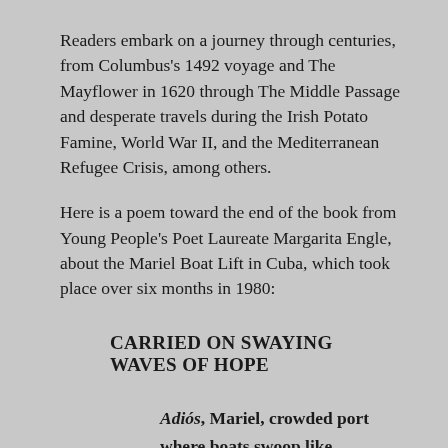Readers embark on a journey through centuries, from Columbus's 1492 voyage and The Mayflower in 1620 through The Middle Passage and desperate travels during the Irish Potato Famine, World War II, and the Mediterranean Refugee Crisis, among others.
Here is a poem toward the end of the book from Young People's Poet Laureate Margarita Engle, about the Mariel Boat Lift in Cuba, which took place over six months in 1980:
CARRIED ON SWAYING WAVES OF HOPE
Adiós, Mariel, crowded port
where boats swoop like seabirds,
each vessel filled up with people
who dream of seeing primos, tíos y amigos
on the far shore
in La Florida,
where we will soon